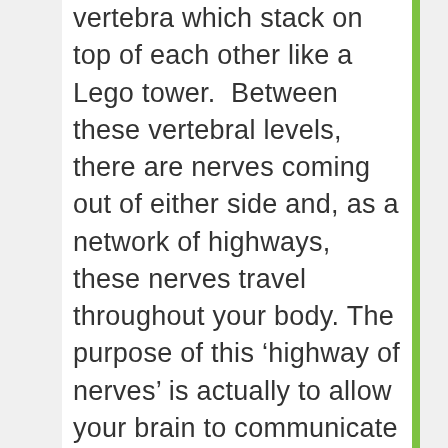vertebra which stack on top of each other like a Lego tower.  Between these vertebral levels, there are nerves coming out of either side and, as a network of highways, these nerves travel throughout your body. The purpose of this 'highway of nerves' is actually to allow your brain to communicate with the rest of your body and give it instructions. These bits of information stemming from the brain